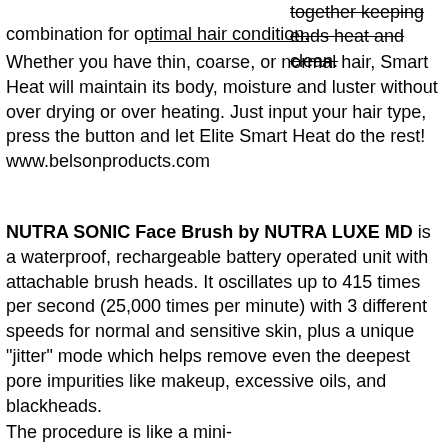together keeping ends heat and clean. combination for optimal hair condition.
Whether you have thin, coarse, or normal hair, Smart Heat will maintain its body, moisture and luster without over drying or over heating. Just input your hair type, press the button and let Elite Smart Heat do the rest! www.belsonproducts.com
NUTRA SONIC Face Brush by NUTRA LUXE MD is a waterproof, rechargeable battery operated unit with attachable brush heads. It oscillates up to 415 times per second (25,000 times per minute) with 3 different speeds for normal and sensitive skin, plus a unique "jitter" mode which helps remove even the deepest pore impurities like makeup, excessive oils, and blackheads.
The procedure is like a mini-